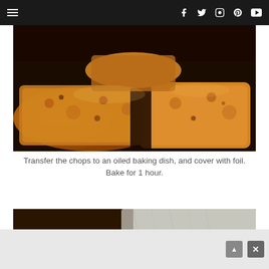Navigation bar with hamburger menu and social icons: Facebook, Twitter, Instagram, Pinterest, YouTube
[Figure (photo): Close-up photo of breaded pork chops in a dark baking dish, golden-brown crust, cooked and crispy]
Transfer the chops to an oiled baking dish, and cover with foil. Bake for 1 hour.
[Figure (photo): Photo of breaded pork chops in a foil-covered baking dish, with watermark text 'themoney-pit.com']